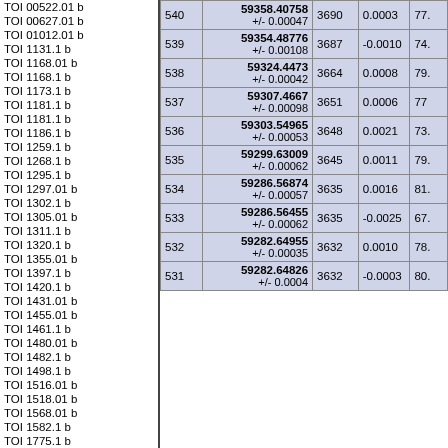TOI 00522.01 b
TOI 00627.01 b
TOI 01012.01 b
TOI 1131.1 b
TOI 1168.01 b
TOI 1168.1 b
TOI 1173.1 b
TOI 1181.1 b
TOI 1181.1 b
TOI 1186.1 b
TOI 1259.1 b
TOI 1268.1 b
TOI 1295.1 b
TOI 1297.01 b
TOI 1302.1 b
TOI 1305.01 b
TOI 1311.1 b
TOI 1320.1 b
TOI 1355.01 b
TOI 1397.1 b
TOI 1420.1 b
TOI 1431.01 b
TOI 1455.01 b
TOI 1461.1 b
TOI 1480.01 b
TOI 1482.1 b
TOI 1498.1 b
TOI 1516.01 b
TOI 1518.01 b
TOI 1568.01 b
TOI 1582.1 b
TOI 1775.1 b
TOI 1822.1 b
TOI 2025.1 b
TOI 2031.1 b
| # | Value (+/- err) | Col1 | Col2 | Col3 |
| --- | --- | --- | --- | --- |
| 540 | 59358.40758 +/- 0.00047 | 3690 | 0.0003 | 77. |
| 539 | 59354.48776 +/- 0.00108 | 3687 | -0.0010 | 74. |
| 538 | 59324.4473 +/- 0.00042 | 3664 | 0.0008 | 79. |
| 537 | 59307.4667 +/- 0.00098 | 3651 | 0.0006 | 77 |
| 536 | 59303.54965 +/- 0.00053 | 3648 | 0.0021 | 73. |
| 535 | 59299.63009 +/- 0.00062 | 3645 | 0.0011 | 79. |
| 534 | 59286.56874 +/- 0.00057 | 3635 | 0.0016 | 81. |
| 533 | 59286.56455 +/- 0.00062 | 3635 | -0.0025 | 67. |
| 532 | 59282.64955 +/- 0.00035 | 3632 | 0.0010 | 78. |
| 531 | 59282.64826 +/- 0.0004 | 3632 | -0.0003 | 80. |